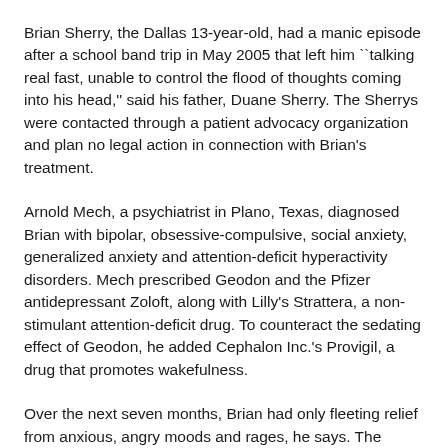Brian Sherry, the Dallas 13-year-old, had a manic episode after a school band trip in May 2005 that left him ``talking real fast, unable to control the flood of thoughts coming into his head,'' said his father, Duane Sherry. The Sherrys were contacted through a patient advocacy organization and plan no legal action in connection with Brian's treatment.
Arnold Mech, a psychiatrist in Plano, Texas, diagnosed Brian with bipolar, obsessive-compulsive, social anxiety, generalized anxiety and attention-deficit hyperactivity disorders. Mech prescribed Geodon and the Pfizer antidepressant Zoloft, along with Lilly's Strattera, a non-stimulant attention-deficit drug. To counteract the sedating effect of Geodon, he added Cephalon Inc.'s Provigil, a drug that promotes wakefulness.
Over the next seven months, Brian had only fleeting relief from anxious, angry moods and rages, he says. The drugs made him so tired he could barely function, his father says. Duane decided to wean his son off the medicines and start him on a regimen of vitamins and herbal supplements.